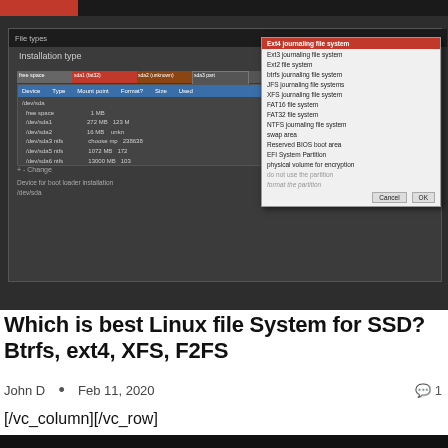[Figure (screenshot): Ubuntu Linux installation type screen showing partition table and a dropdown file system selection menu. The dropdown lists options including Ext4 journaling file system, Ext2 file system, btrfs journaling file system, JFS journaling file systems, XFS journaling file system, FAT16 file system, FAT32 file system, NTFS journaling file system, swap area, Reserved BIOS boot area, EFI System Partition, Physical volume for encryption, do not use the partition. The highlighted option at top appears to be Ext4 journaling file system.]
Which is best Linux file System for SSD? Btrfs, ext4, XFS, F2FS
John D  •  Feb 11, 2020
[/vc_column][/vc_row]